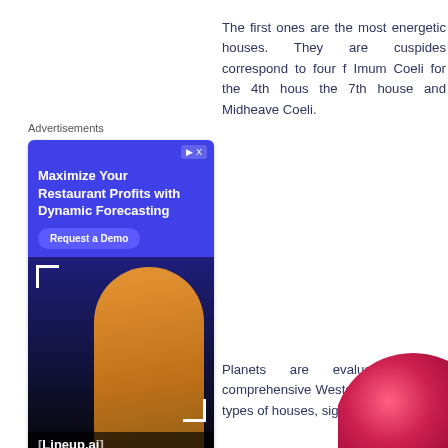Advertisements
[Figure (illustration): Advertisement banner for Lineup.ai - 'Maximize Your Restaurant Profits with Dynamic Forecasting' with a woman in restaurant uniform holding a tablet, blue background, Request a Demo button]
The first ones are the most energetic houses. They are cuspides correspond to four f Imum Coeli for the 4th hous the 7th house and Midheavе Coeli.
Planets are evaluated accor comprehensive Western astro specific types of houses, signs
Houses
[Figure (illustration): Partial view of a red/pink glossy circular object (possibly a planet or decorative element) visible at bottom right corner]